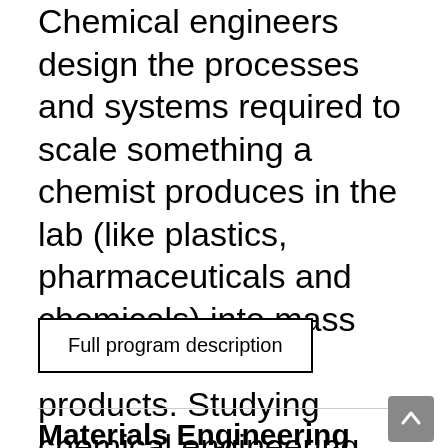Chemical engineers design the processes and systems required to scale something a chemist produces in the lab (like plastics, pharmaceuticals and chemicals) into mass manufacturable products. Studying chemical engineering at...
Full program description
Materials Engineering